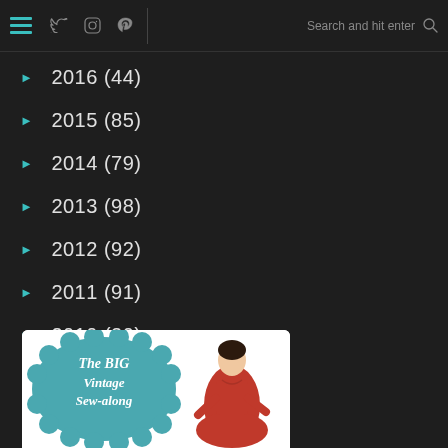Navigation bar with hamburger menu, Twitter, Instagram, Pinterest icons, search bar
► 2016 (44)
► 2015 (85)
► 2014 (79)
► 2013 (98)
► 2012 (92)
► 2011 (91)
► 2010 (30)
[Figure (illustration): The BIG Vintage Sew-along promotional banner with a vintage fashion illustration of a woman in a red dress]